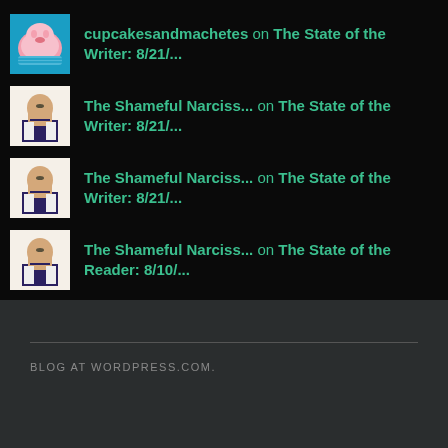cupcakesandmachetes on The State of the Writer: 8/21/...
The Shameful Narciss... on The State of the Writer: 8/21/...
The Shameful Narciss... on The State of the Writer: 8/21/...
The Shameful Narciss... on The State of the Reader: 8/10/...
The State of the Gam... on The State of the Gamer: 8/25/2...
BLOG AT WORDPRESS.COM.